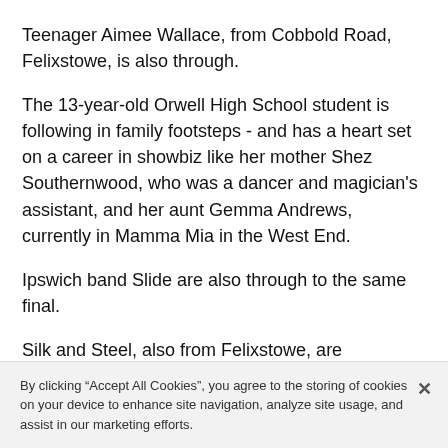Teenager Aimee Wallace, from Cobbold Road, Felixstowe, is also through.
The 13-year-old Orwell High School student is following in family footsteps - and has a heart set on a career in showbiz like her mother Shez Southernwood, who was a dancer and magician's assistant, and her aunt Gemma Andrews, currently in Mamma Mia in the West End.
Ipswich band Slide are also through to the same final.
Silk and Steel, also from Felixstowe, are understood not to have made it through but still have one last chance to as part of a national public vote. People can go to the Live and Unsigned website to find the handle
By clicking “Accept All Cookies”, you agree to the storing of cookies on your device to enhance site navigation, analyze site usage, and assist in our marketing efforts.